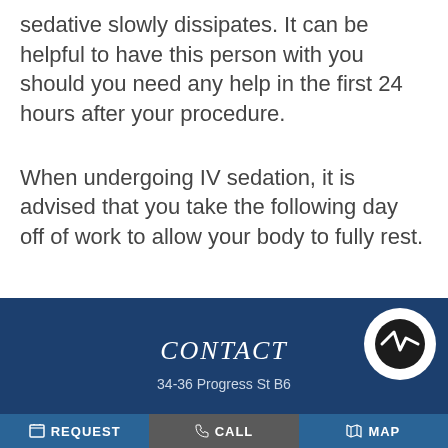sedative slowly dissipates. It can be helpful to have this person with you should you need any help in the first 24 hours after your procedure.
When undergoing IV sedation, it is advised that you take the following day off of work to allow your body to fully rest.
CONTACT
34-36 Progress St B6
REQUEST   CALL   MAP